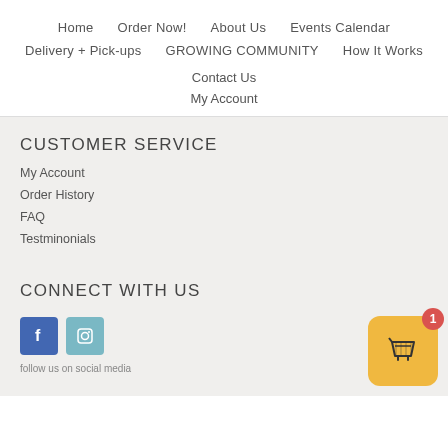Home | Order Now! | About Us | Events Calendar | Delivery + Pick-ups | GROWING COMMUNITY | How It Works | Contact Us | My Account
CUSTOMER SERVICE
My Account
Order History
FAQ
Testminonials
CONNECT WITH US
[Figure (other): Facebook and Instagram social media icon buttons]
[Figure (other): Shopping cart widget with red badge showing count 1, on golden/yellow rounded background]